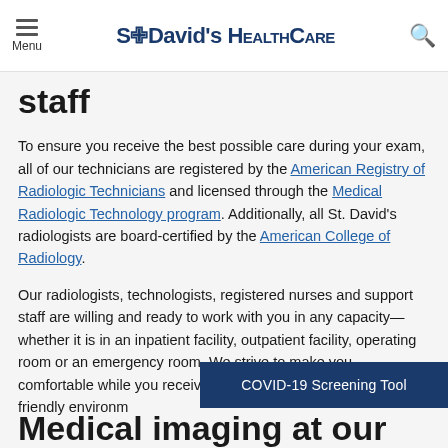Menu | St David's HealthCare
staff
To ensure you receive the best possible care during your exam, all of our technicians are registered by the American Registry of Radiologic Technicians and licensed through the Medical Radiologic Technology program. Additionally, all St. David's radiologists are board-certified by the American College of Radiology.
Our radiologists, technologists, registered nurses and support staff are willing and ready to work with you in any capacity—whether it is in an inpatient facility, outpatient facility, operating room or an emergency room. We strive to make you comfortable while you receive great care in a professional, friendly environm...
[Figure (other): COVID-19 Screening Tool banner button overlay]
Medical imaging at our